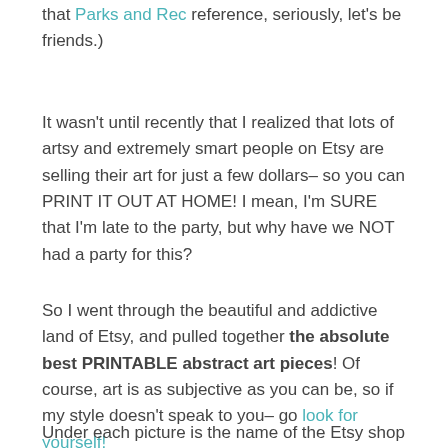that Parks and Rec reference, seriously, let's be friends.)
It wasn't until recently that I realized that lots of artsy and extremely smart people on Etsy are selling their art for just a few dollars– so you can PRINT IT OUT AT HOME! I mean, I'm SURE that I'm late to the party, but why have we NOT had a party for this?
So I went through the beautiful and addictive land of Etsy, and pulled together the absolute best PRINTABLE abstract art pieces! Of course, art is as subjective as you can be, so if my style doesn't speak to you– go look for yourself!
Under each picture is the name of the Etsy shop that created that design. Click on that